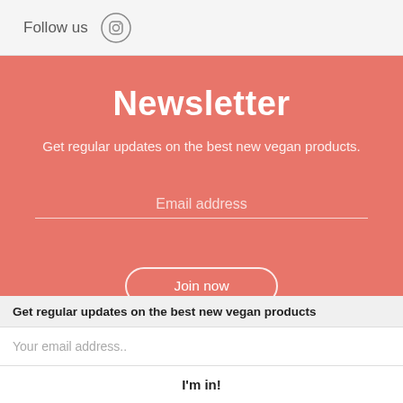Follow us
Newsletter
Get regular updates on the best new vegan products.
Email address
Join now
Get regular updates on the best new vegan products
Your email address..
I'm in!